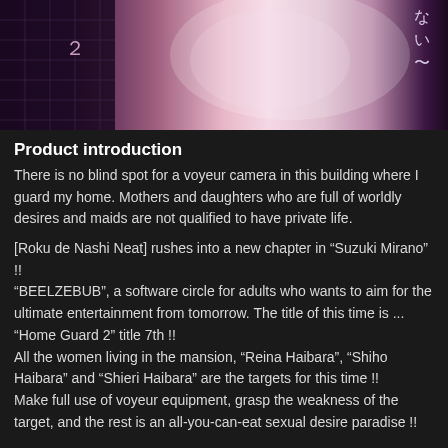[Figure (illustration): Game/visual novel product image with pink and purple tones, Japanese kanji characters on the left side and Japanese text on the right side]
Product introduction
There is no blind spot for a voyeur camera in this building where I guard my home. Mothers and daughters who are full of worldly desires and maids are not qualified to have private life.
[Roku de Nashi Neat] rushes into a new chapter in “Suzuki Mirano” !!
“BEELZEBUB”, a software circle for adults who wants to aim for the ultimate entertainment from tomorrow. The title of this time is ... “Home Guard 2” title 7th !!
All the women living in the mansion, “Reina Haibara”, “Shiho Haibara” and “Shieri Haibara” are the targets for this time !!
Make full use of voyeur equipment, grasp the weakness of the target, and the rest is an all-you-can-eat sexual desire paradise !!